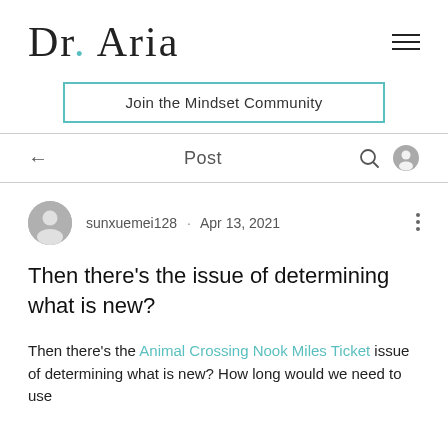Dr. Aria
Join the Mindset Community
Post
sunxuemei128 · Apr 13, 2021
Then there's the issue of determining what is new?
Then there's the Animal Crossing Nook Miles Ticket issue of determining what is new? How long would we need to use